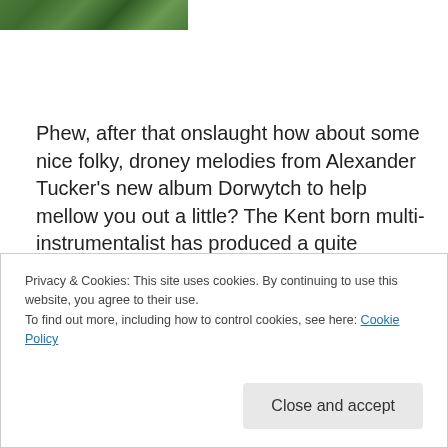[Figure (photo): Partial cropped photo showing green foliage/grass from top-left corner]
Phew, after that onslaught how about some nice folky, droney melodies from Alexander Tucker's new album Dorwytch to help mellow you out a little? The Kent born multi-instrumentalist has produced a quite beautiful album of tunes that slowly unfurl and reveal themselves, as The Quietus' John Doran states "A relatively still surface daring
Privacy & Cookies: This site uses cookies. By continuing to use this website, you agree to their use.
To find out more, including how to control cookies, see here: Cookie Policy